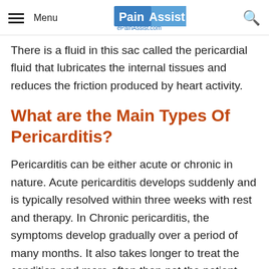Menu | PainAssist ePainAssist.com | Search
There is a fluid in this sac called the pericardial fluid that lubricates the internal tissues and reduces the friction produced by heart activity.
What are the Main Types Of Pericarditis?
Pericarditis can be either acute or chronic in nature. Acute pericarditis develops suddenly and is typically resolved within three weeks with rest and therapy. In Chronic pericarditis, the symptoms develop gradually over a period of many months. It also takes longer to treat the condition and more often than not the patient has a chronic...